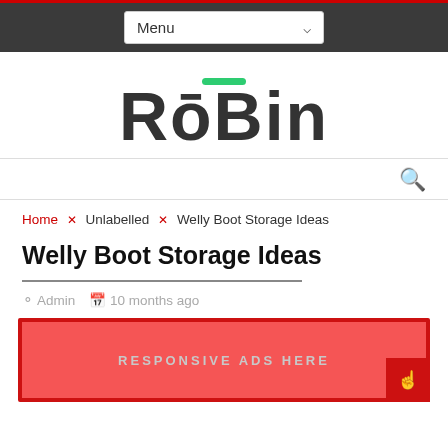Menu
[Figure (logo): Robin logo with green macron over the 'o', bold dark gray serif-style sans-serif lettering]
Home × Unlabelled × Welly Boot Storage Ideas
Welly Boot Storage Ideas
Admin   10 months ago
[Figure (other): Red advertisement banner with text RESPONSIVE ADS HERE]